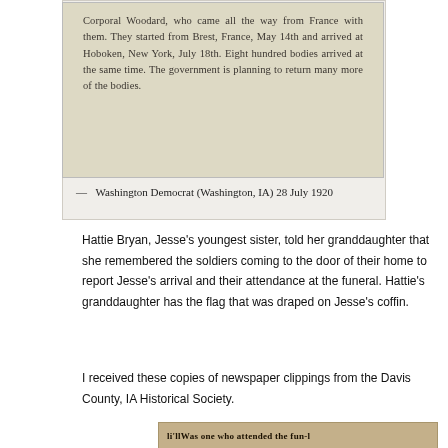[Figure (other): Scanned newspaper clipping on aged beige background reading: 'Corporal Woodard, who came all the way from France with them. They started from Brest, France, May 14th and arrived at Hoboken, New York, July 18th. Eight hundred bodies arrived at the same time. The government is planning to return many more of the bodies.']
— Washington Democrat (Washington, IA) 28 July 1920
Hattie Bryan, Jesse's youngest sister, told her granddaughter that she remembered the soldiers coming to the door of their home to report Jesse's arrival and their attendance at the funeral. Hattie's granddaughter has the flag that was draped on Jesse's coffin.
I received these copies of newspaper clippings from the Davis County, IA Historical Society.
[Figure (other): Partial view of another newspaper clipping at the bottom of the page, partially cut off.]